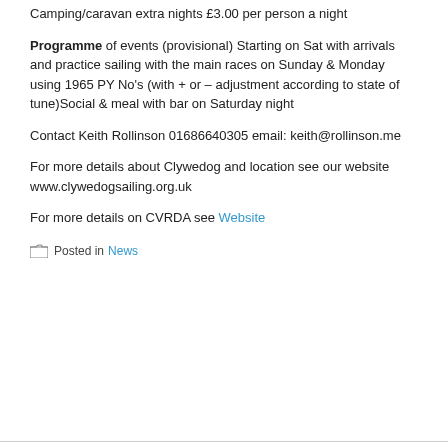Camping/caravan extra nights £3.00 per person a night
Programme of events (provisional) Starting on Sat with arrivals and practice sailing with the main races on Sunday & Monday using 1965 PY No's (with + or – adjustment according to state of tune)Social & meal with bar on Saturday night
Contact Keith Rollinson 01686640305 email: keith@rollinson.me
For more details about Clywedog and location see our website www.clywedogsailing.org.uk
For more details on CVRDA see Website
Posted in News